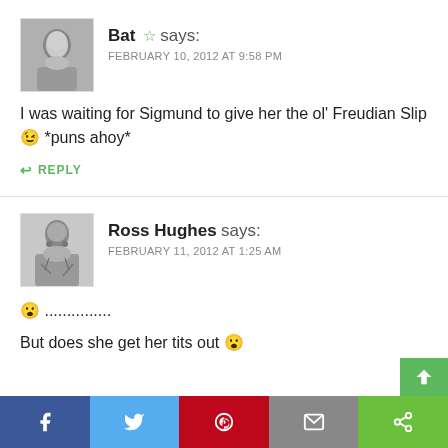Bat ☆ says:
FEBRUARY 10, 2012 AT 9:58 PM
I was waiting for Sigmund to give her the ol' Freudian Slip 😉 *puns ahoy*
REPLY
Ross Hughes says:
FEBRUARY 11, 2012 AT 1:25 AM
😮 ...............
But does she get her tits out 😮